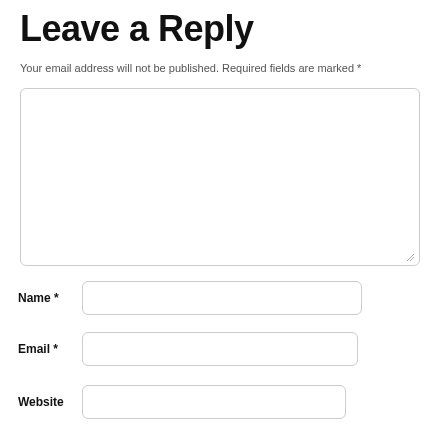Leave a Reply
Your email address will not be published. Required fields are marked *
[Figure (other): Large comment textarea input box with resize handle]
Name *
[Figure (other): Name text input field]
Email *
[Figure (other): Email text input field]
Website
[Figure (other): Website text input field]